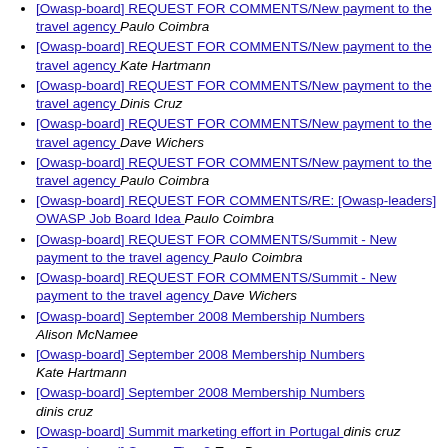[Owasp-board] REQUEST FOR COMMENTS/New payment to the travel agency  Paulo Coimbra
[Owasp-board] REQUEST FOR COMMENTS/New payment to the travel agency  Kate Hartmann
[Owasp-board] REQUEST FOR COMMENTS/New payment to the travel agency  Dinis Cruz
[Owasp-board] REQUEST FOR COMMENTS/New payment to the travel agency  Dave Wichers
[Owasp-board] REQUEST FOR COMMENTS/New payment to the travel agency  Paulo Coimbra
[Owasp-board] REQUEST FOR COMMENTS/RE: [Owasp-leaders] OWASP Job Board Idea  Paulo Coimbra
[Owasp-board] REQUEST FOR COMMENTS/Summit - New payment to the travel agency  Paulo Coimbra
[Owasp-board] REQUEST FOR COMMENTS/Summit - New payment to the travel agency  Dave Wichers
[Owasp-board] September 2008 Membership Numbers  Alison McNamee
[Owasp-board] September 2008 Membership Numbers  Kate Hartmann
[Owasp-board] September 2008 Membership Numbers  dinis cruz
[Owasp-board] Summit marketing effort in Portugal  dinis cruz
[Owasp-board] Survey Time?  Tom Brennan